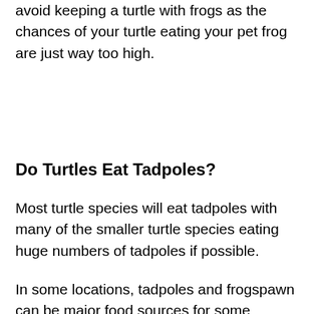avoid keeping a turtle with frogs as the chances of your turtle eating your pet frog are just way too high.
Do Turtles Eat Tadpoles?
Most turtle species will eat tadpoles with many of the smaller turtle species eating huge numbers of tadpoles if possible.
In some locations, tadpoles and frogspawn can be major food sources for some species